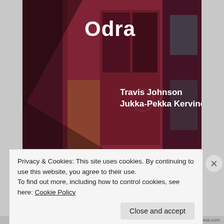[Figure (illustration): Album cover art for 'Odra' by Travis Johnson and Jukka-Pekka Kervinen. Dark reddish-purple toned urban/industrial scene with partially open door and brick wall. Text 'Odra' in white bold font at top, artist names 'Travis Johnson / Jukka-Pekka Kervinen' in white text in the middle-right area.]
Privacy & Cookies: This site uses cookies. By continuing to use this website, you agree to their use.
To find out more, including how to control cookies, see here: Cookie Policy
Close and accept